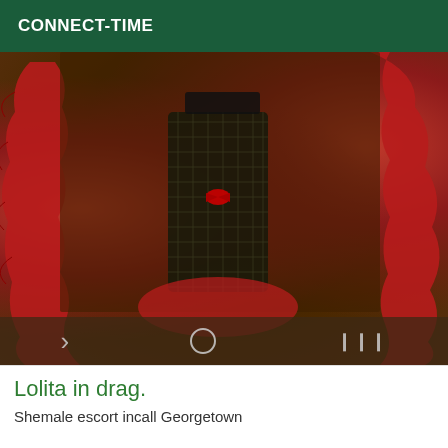CONNECT-TIME
[Figure (photo): Person wearing a red feather boa and black fishnet lingerie outfit, photographed from neck to waist. The background is dark/warm toned.]
Lolita in drag.
Shemale escort incall Georgetown